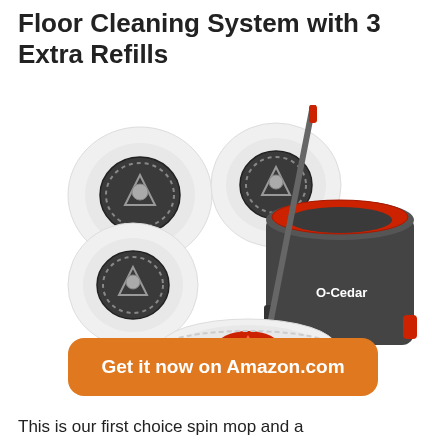Floor Cleaning System with 3 Extra Refills
[Figure (photo): O-Cedar spin mop product photo showing the mop in a grey and red bucket, with 3 round white microfiber mop head refills arranged around it. The bucket is labeled O-Cedar. A red and grey telescoping handle extends from the mop head in the bucket.]
Get it now on Amazon.com
This is our first choice spin mop and a